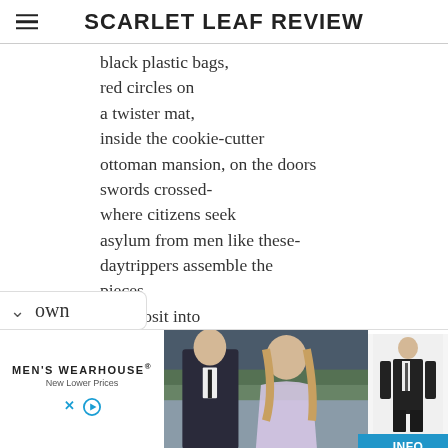SCARLET LEAF REVIEW
black plastic bags,
red circles on
a twister mat,
inside the cookie-cutter
ottoman mansion, on the doors
swords crossed-
where citizens seek
asylum from men like these-
daytrippers assemble the
pieces
to deposit into
discrete vats of hydrofluoric
and pour the
meddlesome pundit
[down]
[Figure (photo): Advertisement for Men's Wearhouse featuring a couple in formal wear and a man in a suit, with an INFO button and Men's Wearhouse logo with New Lower Prices tagline.]